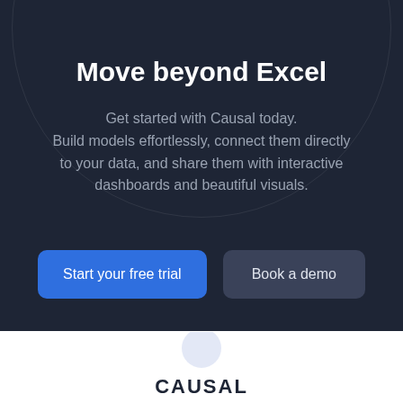Move beyond Excel
Get started with Causal today. Build models effortlessly, connect them directly to your data, and share them with interactive dashboards and beautiful visuals.
Start your free trial
Book a demo
[Figure (logo): Causal logo partial view at bottom of page — circular icon and 'CAUSAL' text in dark color on white background]